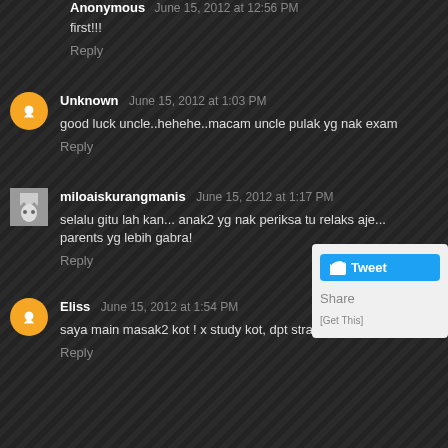Anonymous June 15, 2012 at 12:56 PM
first!!!
Reply
Unknown June 15, 2012 at 1:03 PM
good luck uncle..hehehe..macam uncle pulak yg nak exam
Reply
miloaiskurangmanis June 15, 2012 at 1:17 PM
selalu gitu lah kan... anak2 yg nak periksa tu relaks aje... parents yg lebih gabra!
Reply
[Figure (screenshot): Twitter Tweet button and Share widget overlay]
Eliss June 15, 2012 at 1:54 PM
saya main masak2 kot ! x study kot, dpt straight A's jugak :p
Reply